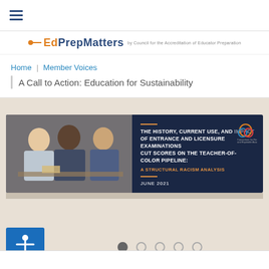EdPrepMatters
Home | Member Voices
A Call to Action: Education for Sustainability
[Figure (photo): Banner image for a research report: left side shows three students (two women, one man) studying together in a library; right side shows dark navy background with report title text and logo. Report title: THE HISTORY, CURRENT USE, AND IMPACT OF ENTRANCE AND LICENSURE EXAMINATIONS CUT SCORES ON THE TEACHER-OF-COLOR PIPELINE: A STRUCTURAL RACISM ANALYSIS. JUNE 2021.]
[Figure (other): Accessibility icon: white stick figure with arms outstretched on blue square background]
Slideshow navigation dots: 5 dots, first filled